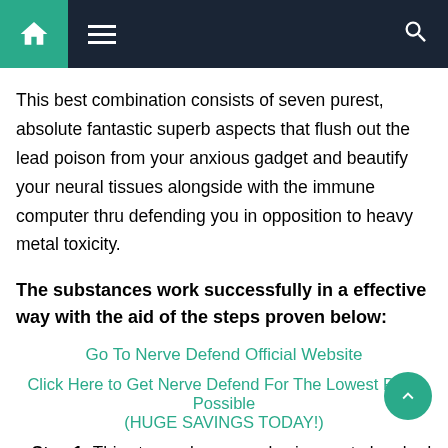Navigation bar with home, menu, and search icons
This best combination consists of seven purest, absolute fantastic superb aspects that flush out the lead poison from your anxious gadget and beautify your neural tissues alongside with the immune computer thru defending you in opposition to heavy metal toxicity.
The substances work successfully in a effective way with the aid of the steps proven below:
Go To Nerve Defend Official Website
Click Here to Get Nerve Defend For The Lowest Price Possible (HUGE SAVINGS TODAY!)
Step 1: This step makes your physique get absorbed